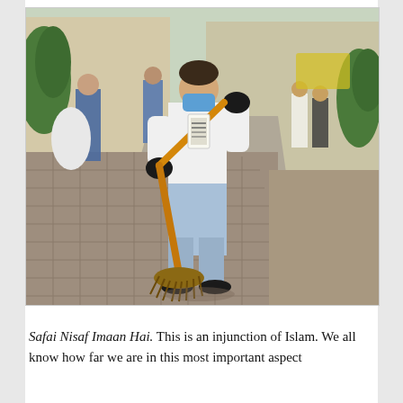[Figure (photo): A young person wearing a blue face mask, white t-shirt, jeans, black gloves and black shoes, sweeping a brick-paved street/sidewalk with a broom. They have a lanyard/badge around their neck. In the background, other people are visible including someone holding a white garbage bag. The setting appears to be an urban street in South Asia.]
Safai Nisaf Imaan Hai. This is an injunction of Islam. We all know how far we are in this most important aspect